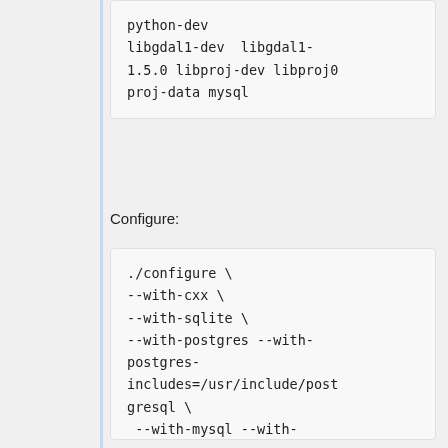python-dev libgdal1-dev  libgdal1-1.5.0 libproj-dev libproj0 proj-data mysql
Configure:
./configure \ --with-cxx \ --with-sqlite \ --with-postgres --with-postgres-includes=/usr/include/postgresql \ --with-mysql --with-mysql-includes=/usr/include/mysql --with-mysql-libs=/usr/lib/mysql \ --with-odbc \ --with-cairo \ --with-proj-share=/usr/share/proj \